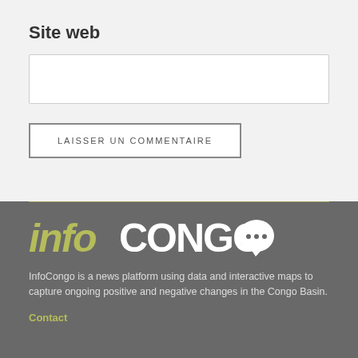Site web
LAISSER UN COMMENTAIRE
[Figure (logo): InfoCongo logo with stylized text 'info' in olive/yellow-green and 'CONGO' in white with a speech bubble containing dots]
InfoCongo is a news platform using data and interactive maps to capture ongoing positive and negative changes in the Congo Basin.
Contact